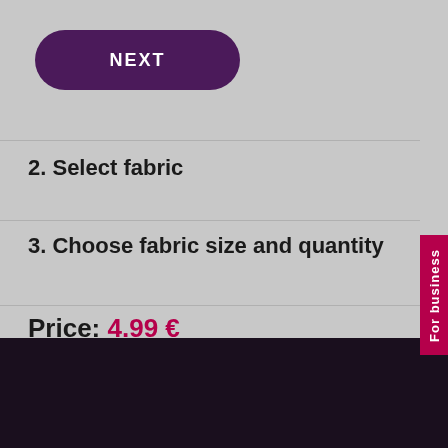[Figure (screenshot): Purple pill-shaped button labeled NEXT]
2. Select fabric
3. Choose fabric size and quantity
Price: 4.99 €
Total net price: 4.06 €
× We use cookies to provide experience on our website. If agree to our use of cookies. F
HAVEN'T DECIDED YET? ORDER A SWATCH BOOK